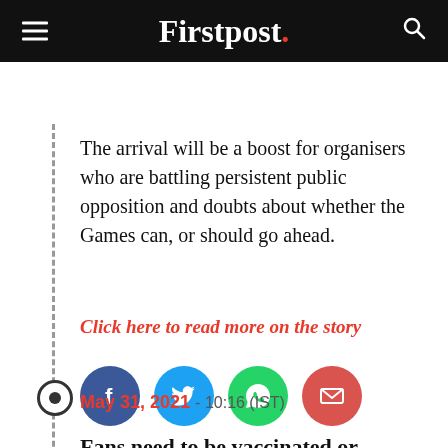Firstpost.
The arrival will be a boost for organisers who are battling persistent public opposition and doubts about whether the Games can, or should go ahead.
Click here to read more on the story
[Figure (infographic): Social share buttons: Facebook (blue circle with f), Twitter (light blue circle with bird), WhatsApp (green circle with phone), Email (red-orange circle with envelope)]
May 31, 2021 - 10:16 (IST)
Fans need to be vaccinated or provide COVID-19 negative test to enter venues, says report
Tokyo Olympics fans may have to be vaccinated